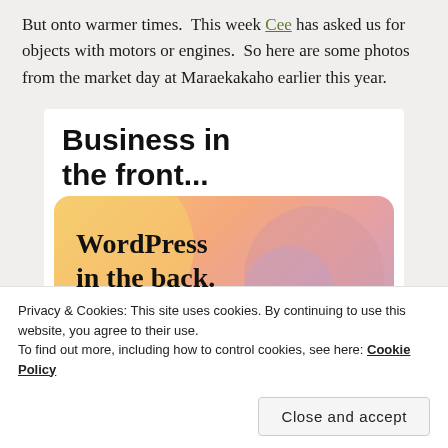But onto warmer times. This week Cee has asked us for objects with motors or engines. So here are some photos from the market day at Maraekakaho earlier this year.
[Figure (screenshot): WordPress advertisement: 'Business in the front... WordPress in the back.' shown on a gradient orange-pink background with circular shapes.]
Privacy & Cookies: This site uses cookies. By continuing to use this website, you agree to their use.
To find out more, including how to control cookies, see here: Cookie Policy